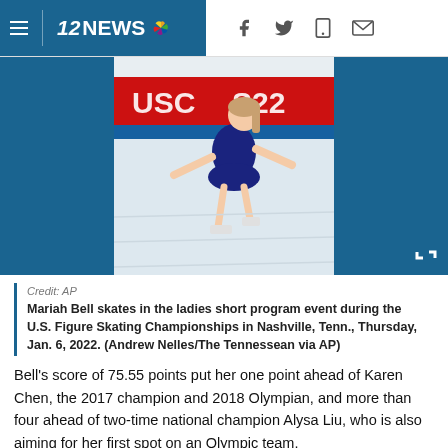12NEWS
[Figure (photo): Mariah Bell figure skater performing in dark costume at US Figure Skating Championships, with red banner reading 'USC S22' in background]
Credit: AP
Mariah Bell skates in the ladies short program event during the U.S. Figure Skating Championships in Nashville, Tenn., Thursday, Jan. 6, 2022. (Andrew Nelles/The Tennessean via AP)
Bell's score of 75.55 points put her one point ahead of Karen Chen, the 2017 champion and 2018 Olympian, and more than four ahead of two-time national champion Alysa Liu, who is also aiming for her first spot on an Olympic team.